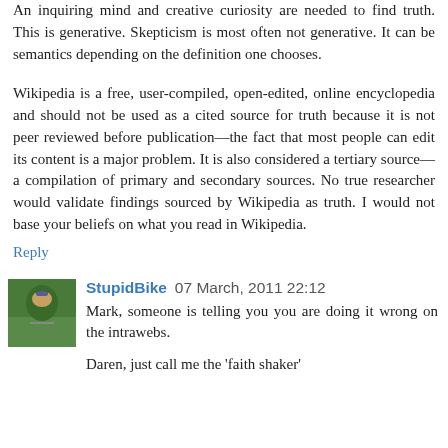An inquiring mind and creative curiosity are needed to find truth. This is generative. Skepticism is most often not generative. It can be semantics depending on the definition one chooses.
Wikipedia is a free, user-compiled, open-edited, online encyclopedia and should not be used as a cited source for truth because it is not peer reviewed before publication—the fact that most people can edit its content is a major problem. It is also considered a tertiary source—a compilation of primary and secondary sources. No true researcher would validate findings sourced by Wikipedia as truth. I would not base your beliefs on what you read in Wikipedia.
Reply
[Figure (photo): Avatar photo of user StupidBike, showing a person on a bicycle in an outdoor setting.]
StupidBike  07 March, 2011 22:12
Mark, someone is telling you you are doing it wrong on the intrawebs.
Daren, just call me the 'faith shaker'